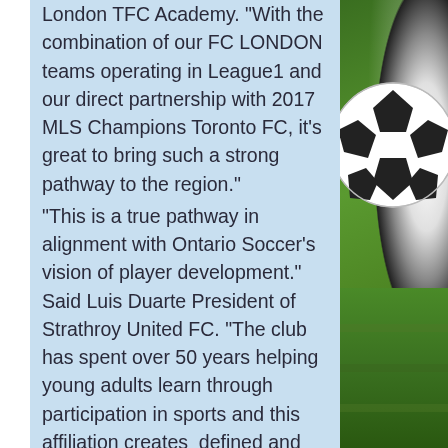London TFC Academy. "With the combination of our FC LONDON teams operating in League1 and our direct partnership with 2017 MLS Champions Toronto FC, it's great to bring such a strong pathway to the region." "This is a true pathway in alignment with Ontario Soccer's vision of player development." Said Luis Duarte President of Strathroy United FC. "The club has spent over 50 years helping young adults learn through participation in sports and this affiliation creates  defined and real opportunities for those that have a vision of playing at a higher level." Through it's affiliation with 2017 MLS Champions Toronto FC, London TFC Academy will be sharing technical and coaching resources with the Strathroy
[Figure (photo): Soccer ball resting on green grass field, photo on right side of page]